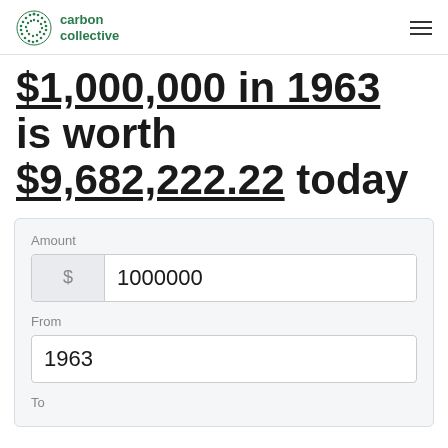carbon collective
$1,000,000 in 1963 is worth $9,682,222.22 today
Amount: $1000000, From: 1963, To: (field)